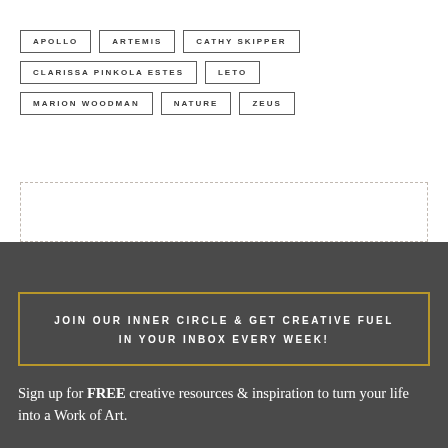APOLLO
ARTEMIS
CATHY SKIPPER
CLARISSA PINKOLA ESTES
LETO
MARION WOODMAN
NATURE
ZEUS
JOIN OUR INNER CIRCLE & GET CREATIVE FUEL IN YOUR INBOX EVERY WEEK!
Sign up for FREE creative resources & inspiration to turn your life into a Work of Art.